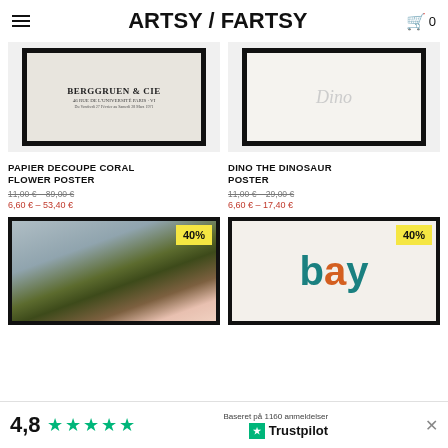ARTSY / FARTSY
[Figure (photo): Berggruen & Cie art poster with black frame on light background]
[Figure (photo): Dino the Dinosaur poster with black frame, light background, 'Dino' text in gray]
PAPIER DECOUPE CORAL FLOWER POSTER
11,00 € – 89,00 €
6,60 € – 53,40 €
DINO THE DINOSAUR POSTER
11,00 € – 29,00 €
6,60 € – 17,40 €
[Figure (photo): Flower painting poster with dark floral brushstrokes, black frame, 40% badge]
[Figure (photo): Bay poster with teal and orange letters on light background, black frame, 40% badge]
4,8 ★★★★★ Baseret på 1160 anmeldelser Trustpilot